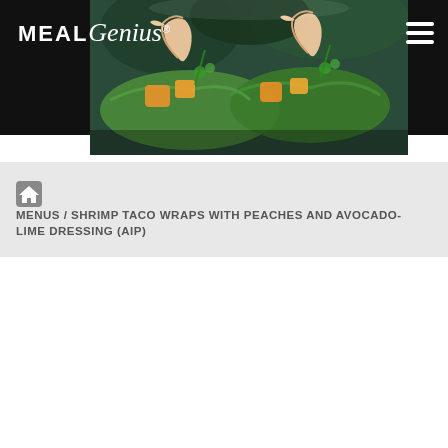MealGenius
[Figure (photo): Food photo showing shrimp taco wraps with peaches and avocado in lettuce cups on a plate, dark background]
MENUS / SHRIMP TACO WRAPS WITH PEACHES AND AVOCADO-LIME DRESSING (AIP)